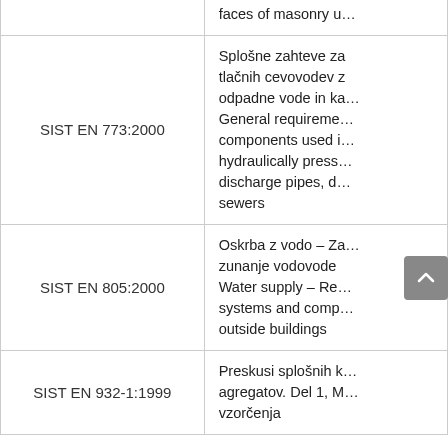| Code | Description |
| --- | --- |
|  | faces of masonry u… |
| SIST EN 773:2000 | Splošne zahteve za tlačnih cevovodev z odpadne vode in ka… General requirements components used i… hydraulically press… discharge pipes, d… sewers |
| SIST EN 805:2000 | Oskrba z vodo – Za… zunanje vodovode Water supply – Re… systems and comp… outside buildings |
| SIST EN 932-1:1999 | Preskusi splošnih k… agregatov. Del 1, M… vzorčenja |